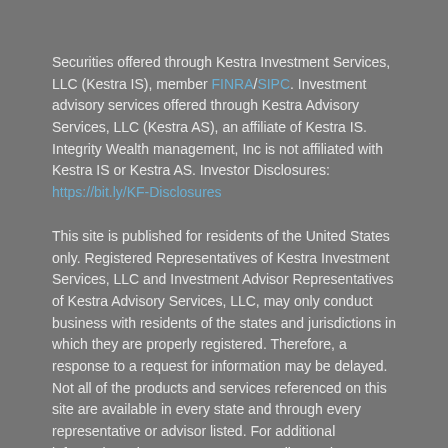Securities offered through Kestra Investment Services, LLC (Kestra IS), member FINRA/SIPC. Investment advisory services offered through Kestra Advisory Services, LLC (Kestra AS), an affiliate of Kestra IS. Integrity Wealth management, Inc is not affiliated with Kestra IS or Kestra AS. Investor Disclosures: https://bit.ly/KF-Disclosures
This site is published for residents of the United States only. Registered Representatives of Kestra Investment Services, LLC and Investment Advisor Representatives of Kestra Advisory Services, LLC, may only conduct business with residents of the states and jurisdictions in which they are properly registered. Therefore, a response to a request for information may be delayed. Not all of the products and services referenced on this site are available in every state and through every representative or advisor listed. For additional information, please contact our Compliance department at 844-553-7872.